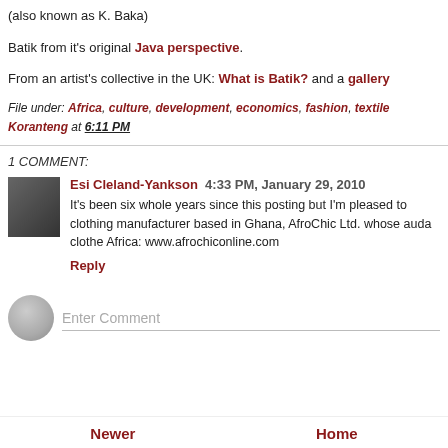(also known as K. Baka)
Batik from it's original Java perspective.
From an artist's collective in the UK: What is Batik? and a gallery
File under: Africa, culture, development, economics, fashion, textile Koranteng at 6:11 PM
1 COMMENT:
Esi Cleland-Yankson  4:33 PM, January 29, 2010
It's been six whole years since this posting but I'm pleased to clothing manufacturer based in Ghana, AfroChic Ltd. whose auda clothe Africa: www.afrochiconline.com
Reply
Enter Comment
Newer
Home